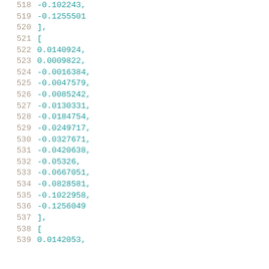518    -0.102243,
519    -0.1255501
520    ],
521    [
522        0.0140924,
523        0.0009822,
524        -0.0016384,
525        -0.0047579,
526        -0.0085242,
527        -0.0130331,
528        -0.0184754,
529        -0.0249717,
530        -0.0327671,
531        -0.0420638,
532        -0.05326,
533        -0.0667051,
534        -0.0828581,
535        -0.1022958,
536        -0.1256049
537    ],
538    [
539        0.0142053,